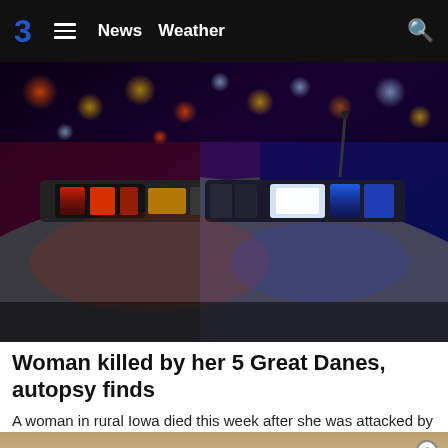3  ≡  News  Weather  🔍
[Figure (photo): Police car rooftop at night with red and blue emergency lights flashing, bokeh city lights in background]
Woman killed by her 5 Great Danes, autopsy finds
A woman in rural Iowa died this week after she was attacked by her own five dogs, authorities said.
WHSV
[Figure (photo): Partial view of a building exterior, bottom strip of page]